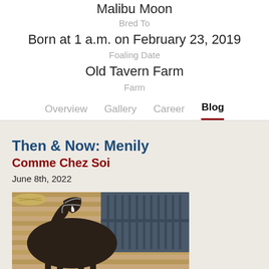Malibu Moon
Bred To
Born at 1 a.m. on February 23, 2019
Foaling Date
Old Tavern Farm
Farm
Overview | Gallery | Career | Blog
Then & Now: Menily
Comme Chez Soi
June 8th, 2022
[Figure (photo): A dark horse standing in a barn stall with wooden walls, wearing a halter, with a person partially visible.]